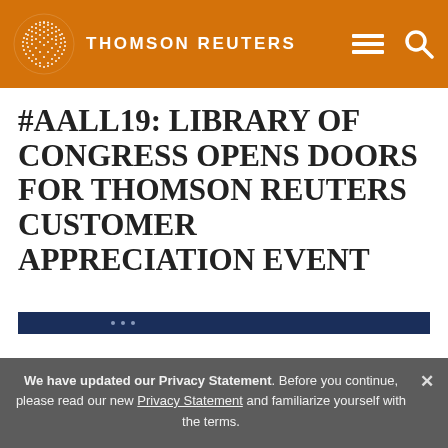THOMSON REUTERS
#AALL19: LIBRARY OF CONGRESS OPENS DOORS FOR THOMSON REUTERS CUSTOMER APPRECIATION EVENT
[Figure (screenshot): Partial screenshot of a dark blue image bar at the bottom of main content area]
We have updated our Privacy Statement. Before you continue, please read our new Privacy Statement and familiarize yourself with the terms.